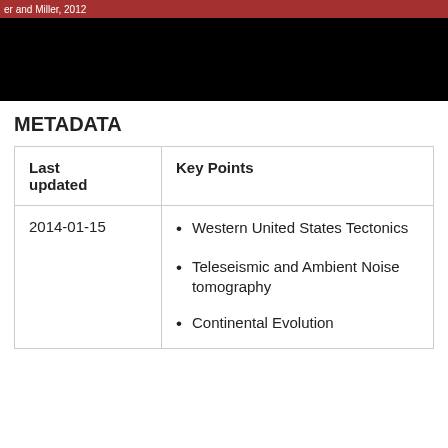er and Miller, 2012
[Figure (photo): Black rectangular image bar, partially visible photograph or dark image]
METADATA
| Last updated | Key Points |
| --- | --- |
| 2014-01-15 | • Western United States Tectonics
• Teleseismic and Ambient Noise tomography
• Continental Evolution |